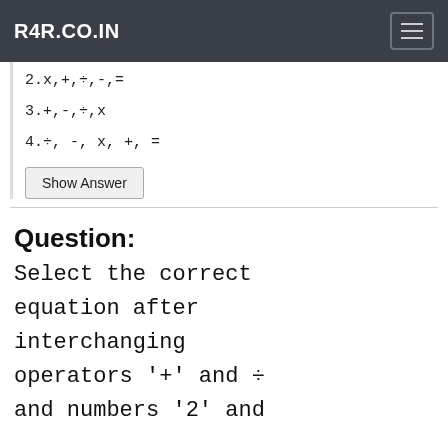R4R.CO.IN
2.x,+,÷,-,=
3.+,-,÷,x
4.÷, -, x, +, =
Show Answer
Question:
Select the correct equation after interchanging operators '+' and ÷ and numbers '2' and